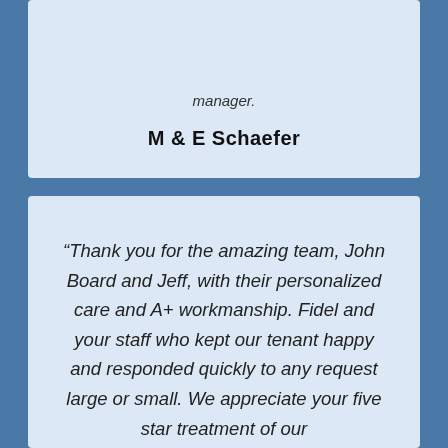manager.
M & E Schaefer
“Thank you for the amazing team, John Board and Jeff, with their personalized care and A+ workmanship. Fidel and your staff who kept our tenant happy and responded quickly to any request large or small. We appreciate your five star treatment of our